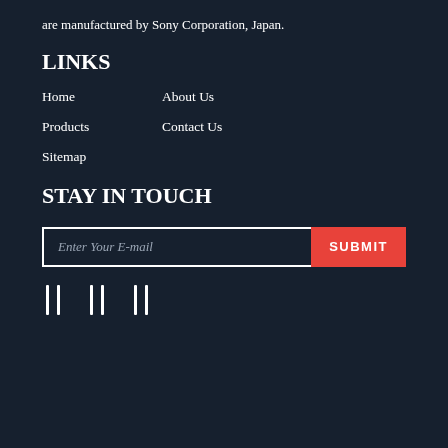are manufactured by Sony Corporation, Japan.
LINKS
Home
About Us
Products
Contact Us
Sitemap
STAY IN TOUCH
[Figure (other): Email subscription form with text input 'Enter Your E-mail' and a red SUBMIT button]
[Figure (other): Three social media icon placeholders displayed as vertical bracket/pipe symbols]